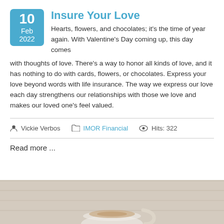Insure Your Love
Hearts, flowers, and chocolates; it’s the time of year again. With Valentine’s Day coming up, this day comes with thoughts of love. There’s a way to honor all kinds of love, and it has nothing to do with cards, flowers, or chocolates. Express your love beyond words with life insurance. The way we express our love each day strengthens our relationships with those we love and makes our loved one’s feel valued.
Vickie Verbos   IMOR Financial   Hits: 322
Read more ...
[Figure (photo): Partial photo of a coffee cup or similar object on a light wooden surface, cropped at the bottom of the page.]